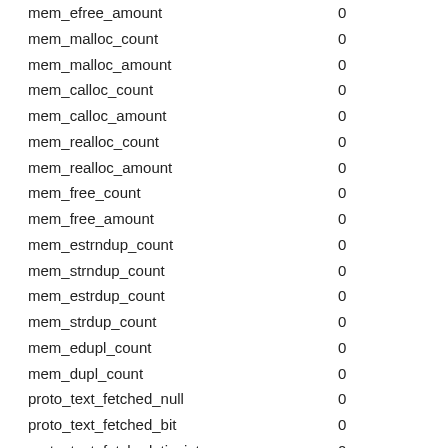| Key | Value |
| --- | --- |
| mem_efree_amount | 0 |
| mem_malloc_count | 0 |
| mem_malloc_amount | 0 |
| mem_calloc_count | 0 |
| mem_calloc_amount | 0 |
| mem_realloc_count | 0 |
| mem_realloc_amount | 0 |
| mem_free_count | 0 |
| mem_free_amount | 0 |
| mem_estrndup_count | 0 |
| mem_strndup_count | 0 |
| mem_estrdup_count | 0 |
| mem_strdup_count | 0 |
| mem_edupl_count | 0 |
| mem_dupl_count | 0 |
| proto_text_fetched_null | 0 |
| proto_text_fetched_bit | 0 |
| proto_text_fetched_tinyint | 0 |
| proto_text_fetched_short | 0 |
| proto_text_fetched_int24 | 0 |
| proto_text_fetched_int | 0 |